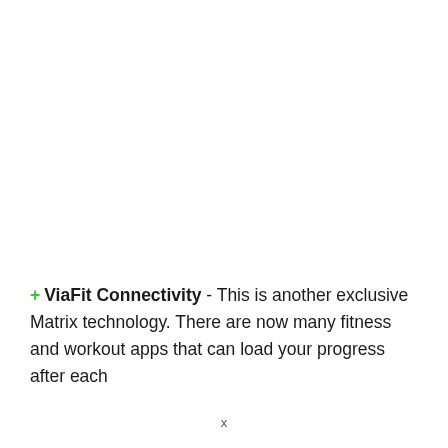+ ViaFit Connectivity - This is another exclusive Matrix technology. There are now many fitness and workout apps that can load your progress after each
x